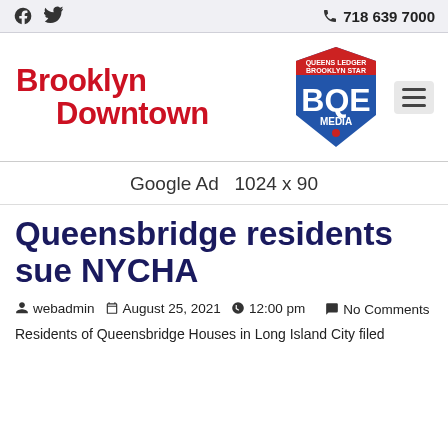Facebook  Twitter  718 639 7000
[Figure (logo): Brooklyn Downtown / BQE Media logo with shield]
Google Ad  1024 x 90
Queensbridge residents sue NYCHA
webadmin  August 25, 2021  12:00 pm  No Comments
Residents of Queensbridge Houses in Long Island City filed